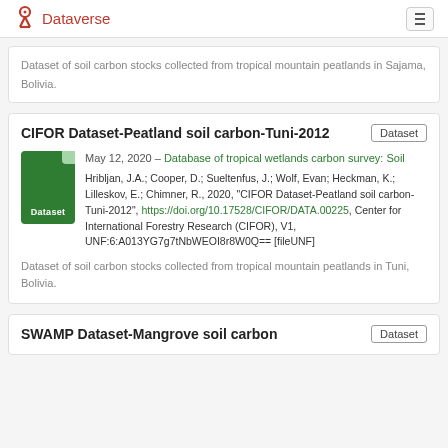Dataverse
Dataset of soil carbon stocks collected from tropical mountain peatlands in Sajama, Bolivia.
CIFOR Dataset-Peatland soil carbon-Tuni-2012
May 12, 2020 – Database of tropical wetlands carbon survey: Soil
Hribljan, J.A.; Cooper, D.; Sueltenfus, J.; Wolf, Evan; Heckman, K.; Lilleskov, E.; Chimner, R., 2020, "CIFOR Dataset-Peatland soil carbon-Tuni-2012", https://doi.org/10.17528/CIFOR/DATA.00225, Center for International Forestry Research (CIFOR), V1, UNF:6:A013YG7g7tNbWEOI8r8W0Q== [fileUNF]
Dataset of soil carbon stocks collected from tropical mountain peatlands in Tuni, Bolivia.
SWAMP Dataset-Mangrove soil carbon